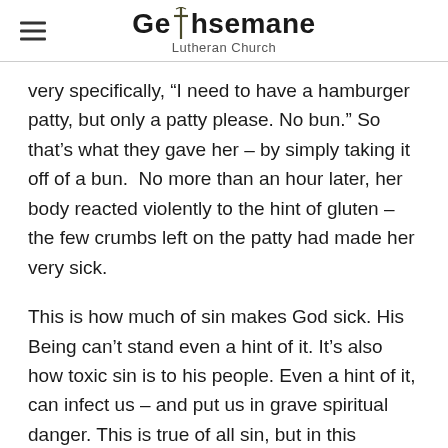Gethsemane Lutheran Church
very specifically, “I need to have a hamburger patty, but only a patty please. No bun.” So that’s what they gave her – by simply taking it off of a bun.  No more than an hour later, her body reacted violently to the hint of gluten – the few crumbs left on the patty had made her very sick.
This is how much of sin makes God sick. His Being can’t stand even a hint of it. It’s also how toxic sin is to his people. Even a hint of it, can infect us – and put us in grave spiritual danger. This is true of all sin, but in this section he gets very specific about a few sins.